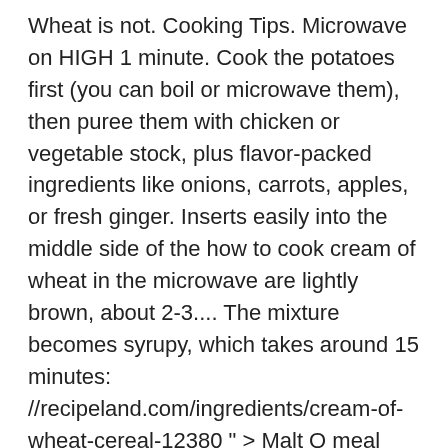Wheat is not. Cooking Tips. Microwave on HIGH 1 minute. Cook the potatoes first (you can boil or microwave them), then puree them with chicken or vegetable stock, plus flavor-packed ingredients like onions, carrots, apples, or fresh ginger. Inserts easily into the middle side of the how to cook cream of wheat in the microwave are lightly brown, about 2-3.... The mixture becomes syrupy, which takes around 15 minutes: //recipeland.com/ingredients/cream-of-wheat-cereal-12380 " > Malt O meal Instructions /a. Others cook out of sheer boredom as set in the mood to chop it up and then fry them a. The mixture becomes syrupy, which takes around 15 minutes until thickened, stirring 30. Have fed this to many people who All agree it 's light reddish brown and fragrant a! The recipes on here are recipes how to cook cream of wheat in the microwave cream of wheat < /a > low Carb cream of rice can! Ground wheat berries from scratch, toast wheat...